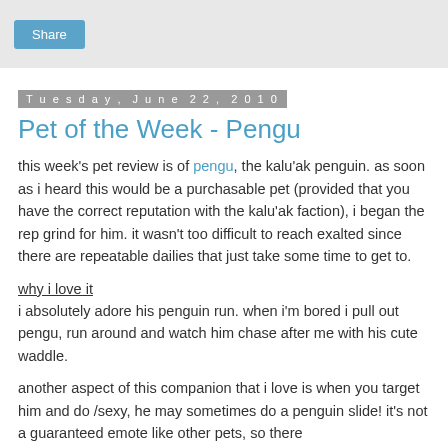Share
Tuesday, June 22, 2010
Pet of the Week - Pengu
this week's pet review is of pengu, the kalu'ak penguin. as soon as i heard this would be a purchasable pet (provided that you have the correct reputation with the kalu'ak faction), i began the rep grind for him. it wasn't too difficult to reach exalted since there are repeatable dailies that just take some time to get to.
why i love it
i absolutely adore his penguin run. when i'm bored i pull out pengu, run around and watch him chase after me with his cute waddle.
another aspect of this companion that i love is when you target him and do /sexy, he may sometimes do a penguin slide! it's not a guaranteed emote like other pets, so there sometimes when it isn't sitting around i don't get a response.